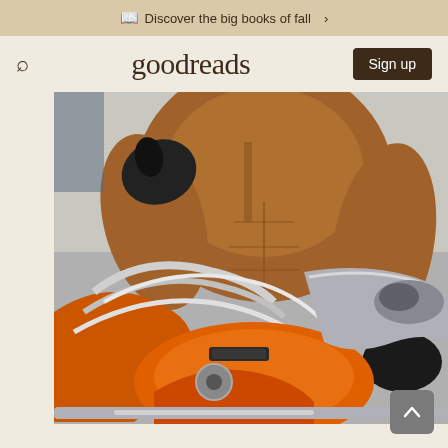Discover the big books of fall >
goodreads
[Figure (photo): A muscular shirtless man wearing black gloves, sitting on or leaning over a red/orange custom chopper motorcycle with chrome handlebars and components. The photo is a book cover image displayed on the Goodreads website.]
Sign up